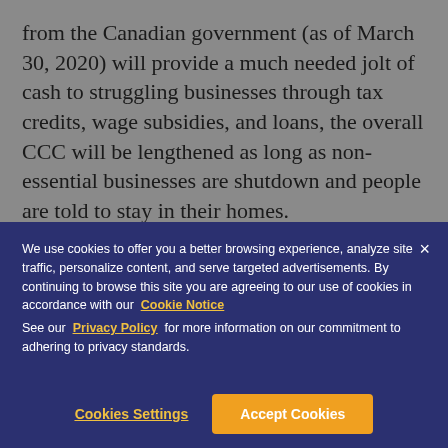from the Canadian government (as of March 30, 2020) will provide a much needed jolt of cash to struggling businesses through tax credits, wage subsidies, and loans, the overall CCC will be lengthened as long as non-essential businesses are shutdown and people are told to stay in their homes.
We use cookies to offer you a better browsing experience, analyze site traffic, personalize content, and serve targeted advertisements. By continuing to browse this site you are agreeing to our use of cookies in accordance with our Cookie Notice See our Privacy Policy for more information on our commitment to adhering to privacy standards.
Cookies Settings
Accept Cookies